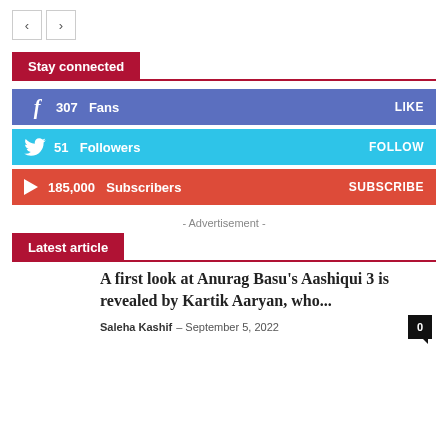Stay connected
307  Fans  LIKE
51  Followers  FOLLOW
185,000  Subscribers  SUBSCRIBE
- Advertisement -
Latest article
A first look at Anurag Basu's Aashiqui 3 is revealed by Kartik Aaryan, who...
Saleha Kashif – September 5, 2022  0